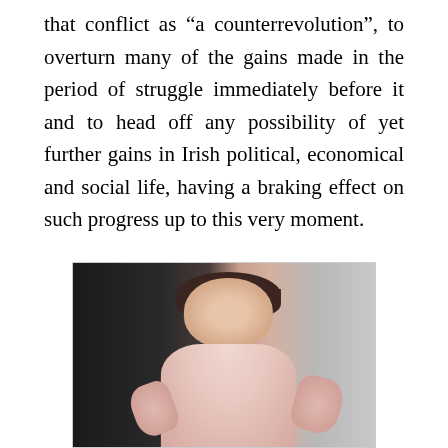that conflict as “a counterrevolution”, to overturn many of the gains made in the period of struggle immediately before it and to head off any possibility of yet further gains in Irish political, economical and social life, having a braking effect on such progress up to this very moment.
[Figure (photo): A photograph of a young woman with dark hair and bangs, wearing a light-colored (white/pink) top, with her hands raised, against a dark background on the left and a light grey background on the right.]